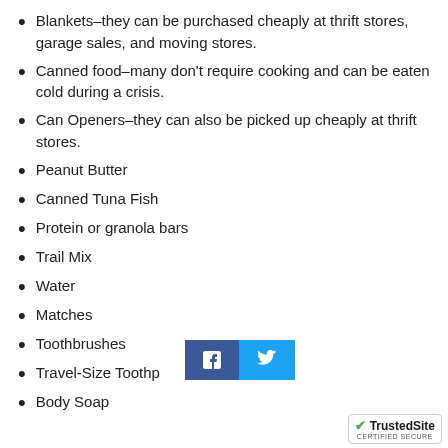Blankets–they can be purchased cheaply at thrift stores, garage sales, and moving stores.
Canned food–many don't require cooking and can be eaten cold during a crisis.
Can Openers–they can also be picked up cheaply at thrift stores.
Peanut Butter
Canned Tuna Fish
Protein or granola bars
Trail Mix
Water
Matches
Toothbrushes
Travel-Size Toothp[aste]
Body Soap
[Figure (other): Facebook and Twitter social share buttons overlay]
[Figure (logo): TrustedSite CERTIFIED SECURE badge in bottom right corner]